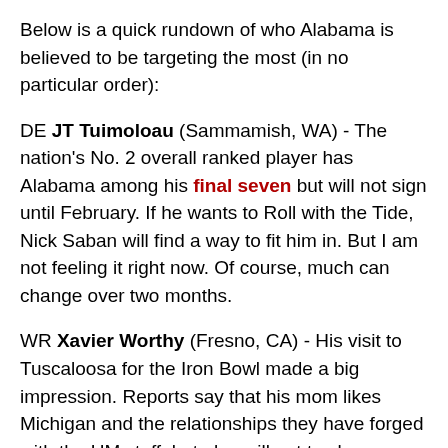Below is a quick rundown of who Alabama is believed to be targeting the most (in no particular order):
DE JT Tuimoloau (Sammamish, WA) - The nation's No. 2 overall ranked player has Alabama among his final seven but will not sign until February. If he wants to Roll with the Tide, Nick Saban will find a way to fit him in. But I am not feeling it right now. Of course, much can change over two months.
WR Xavier Worthy (Fresno, CA) - His visit to Tuscaloosa for the Iron Bowl made a big impression. Reports say that his mom likes Michigan and the relationships they have forged with the UM staff, but also will not to close or offline if that time but b